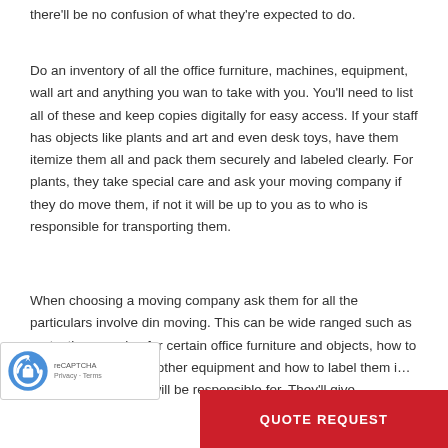there'll be no confusion of what they're expected to do.
Do an inventory of all the office furniture, machines, equipment, wall art and anything you wan to take with you. You'll need to list all of these and keep copies digitally for easy access. If your staff has objects like plants and art and even desk toys, have them itemize them all and pack them securely and labeled clearly. For plants, they take special care and ask your moving company if they do move them, if not it will be up to you as to who is responsible for transporting them.
When choosing a moving company ask them for all the particulars involve din moving. This can be wide ranged such as protective covering for certain office furniture and objects, how to store computers and other equipment and how to label them i… all preparations you will be responsible for. They'll give